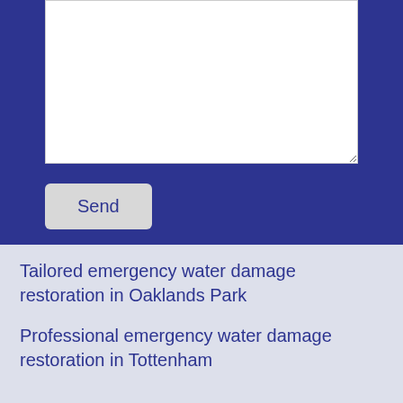[Figure (screenshot): White textarea input box on dark blue background, partially visible at top]
Send
Tailored emergency water damage restoration in Oaklands Park
Professional emergency water damage restoration in Tottenham